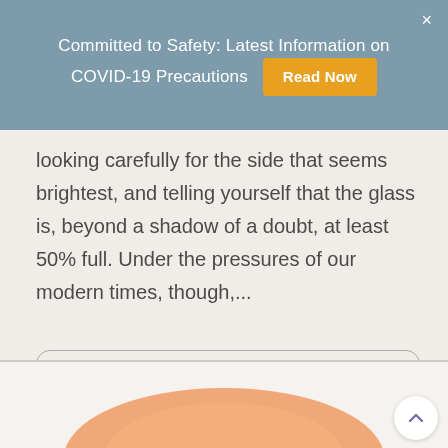Committed to Safety: Latest Information on COVID-19 Precautions  Read Now
looking carefully for the side that seems brightest, and telling yourself that the glass is, beyond a shadow of a doubt, at least 50% full. Under the pressures of our modern times, though,...
Read more
[Figure (photo): Partial view of an orange/peach colored bowl at the bottom of the page]